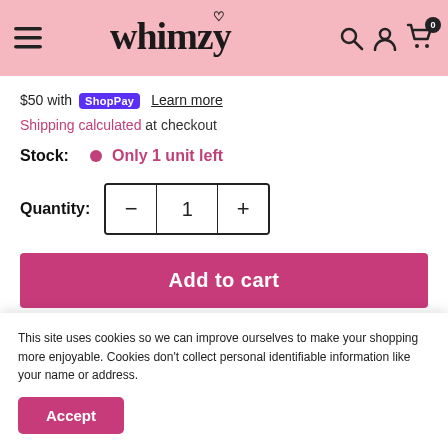Whimzy — navigation header with menu, search, account, cart (0)
$50 with Shop Pay  Learn more
Shipping calculated at checkout
Stock:  Only 1 unit left
Quantity: 1
Add to cart
This site uses cookies so we can improve ourselves to make your shopping more enjoyable. Cookies don't collect personal identifiable information like your name or address.
Accept